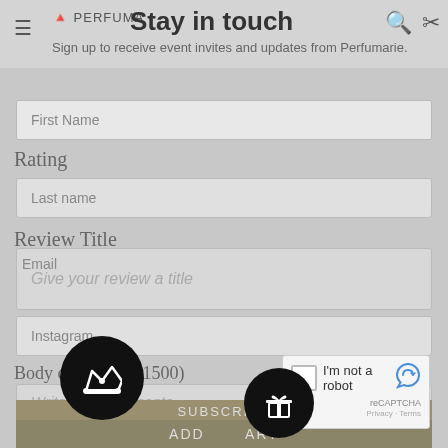PERFUMA — Stay in touch
Sign up to receive event invites and updates from Perfumarie.
First Name
Rating
Last name
Review Title
Email
Give your review a title
Instagram
Body of Review (1500)
Write your comments
I'm not a robot
SUBSCRIBE
ADD TO CART